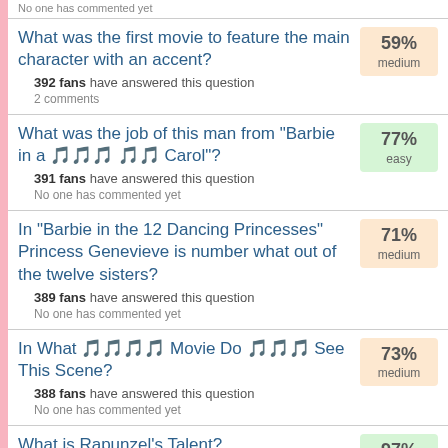No one has commented yet
What was the first movie to feature the main character with an accent? — 392 fans have answered this question — 2 comments — 59% medium
What was the job of this man from "Barbie in a 🎵🎵🎵 🎵🎵 Carol"? — 391 fans have answered this question — No one has commented yet — 77% easy
In "Barbie in the 12 Dancing Princesses" Princess Genevieve is number what out of the twelve sisters? — 389 fans have answered this question — No one has commented yet — 71% medium
In What 🎵🎵🎵🎵 Movie Do 🎵🎵🎵 See This Scene? — 388 fans have answered this question — No one has commented yet — 73% medium
What is Rapunzel's Talent? — 388 fans have answered this question — No one has commented yet — 97% cakewalk
What was the job of the twins from "Barbie in a 🎵🎵